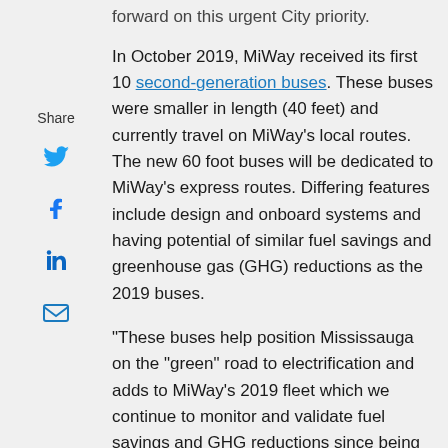forward on this urgent City priority.
In October 2019, MiWay received its first 10 second-generation buses. These buses were smaller in length (40 feet) and currently travel on MiWay's local routes. The new 60 foot buses will be dedicated to MiWay's express routes. Differing features include design and onboard systems and having potential of similar fuel savings and greenhouse gas (GHG) reductions as the 2019 buses.
“These buses help position Mississauga on the “green” road to electrification and adds to MiWay’s 2019 fleet which we continue to monitor and validate fuel savings and GHG reductions since being in service,” said Geoff Marinoff, Director, Transit. “These 60 foot models are the first in Ontario – no one else in Canada has them except Quebec and British